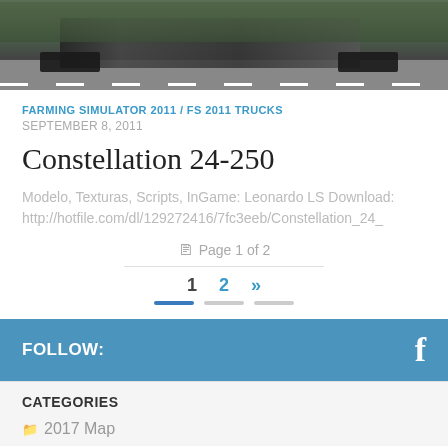[Figure (screenshot): Top portion of a truck driving on a road, screenshot from a farming/trucking simulator game]
FARMING SIMULATOR 2011 / FS 2011 TRUCKS
SEPTEMBER 8, 2011
Constellation 24-250
Modelo, Texturas, Scripts, InGame: Leonardo LS Download: http://hotfile.com/dl/129272416/7fc3eeb/Constellation_24_
Page 1 of 2
1  2  »
FOLLOW:
CATEGORIES
2017 Map